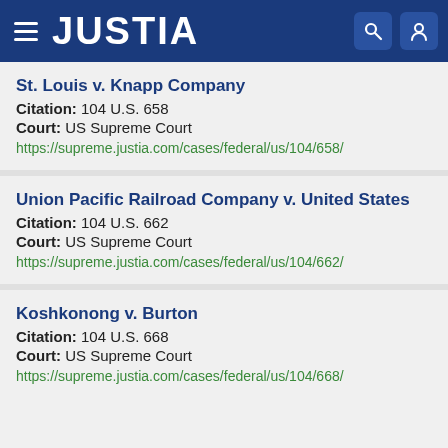JUSTIA
St. Louis v. Knapp Company
Citation: 104 U.S. 658
Court: US Supreme Court
https://supreme.justia.com/cases/federal/us/104/658/
Union Pacific Railroad Company v. United States
Citation: 104 U.S. 662
Court: US Supreme Court
https://supreme.justia.com/cases/federal/us/104/662/
Koshkonong v. Burton
Citation: 104 U.S. 668
Court: US Supreme Court
https://supreme.justia.com/cases/federal/us/104/668/